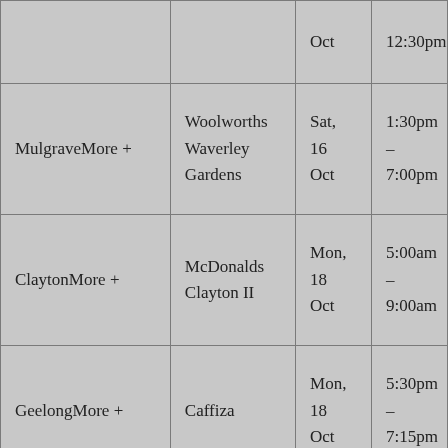|  |  | Date | Time |
| --- | --- | --- | --- |
|  |  | Oct | 12:30pm |
| MulgraveMore + | Woolworths Waverley Gardens | Sat, 16 Oct | 1:30pm – 7:00pm |
| ClaytonMore + | McDonalds Clayton II | Mon, 18 Oct | 5:00am – 9:00am |
| GeelongMore + | Caffiza | Mon, 18 Oct | 5:30pm – 7:15pm |
| GeelongMore + | Malt and Shovel Taphouse Geelong | Sat, 16 Oct | 5:00pm – 7:00pm |